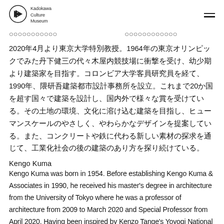Kadokawa Culture Museum
2020年4月より東京大学特別教授。1964年の東京オリンピックでみた丹下健三の代々木屋内競技場に衝撃を受け、幼少期より建築家を目指す。コロンビア大学客員研究員を経て、1990年、隈研吾建築都市設計事務所を設立。これまで20か国を超す国々で建築を設計し、国内外で様々な賞を受けている。その土地の環境、文化に溶け込む建築を目指し、ヒューマンスケールのやさしく、やわらかなデザインを提案している。また、コンクリートや鉄に代わる新しい素材の探求を通じて、工業化社会の後の建築のあり方を探り続けている。
Kengo Kuma
Kengo Kuma was born in 1954. Before establishing Kengo Kuma & Associates in 1990, he received his master's degree in architecture from the University of Tokyo where he was a professor of architecture from 2009 to March 2020 and Special Professor from April 2020. Having been inspired by Kenzo Tange's Yoyogi National Gymnasium, built for the 1964 Tokyo Olympics, Kengo Kuma decided to pursue architecture at a young age and later entered the